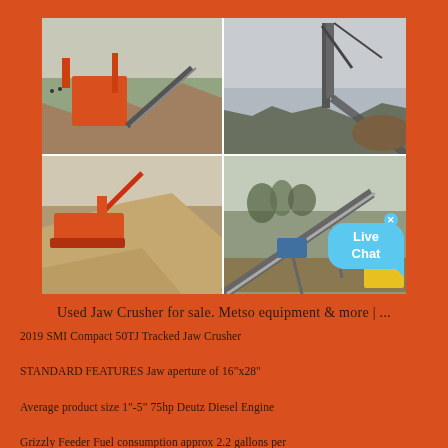[Figure (photo): Four industrial photos of jaw crusher and mining equipment operations arranged in a 2x2 grid. Top-left: large crushing plant with orange machinery and conveyor on a gravel mound. Top-right: tall conveyor structure and cranes at a mining site. Bottom-left: orange tracked jaw crusher next to a large aggregate pile. Bottom-right: conveyor system with yellow truck at a quarry site.]
Used Jaw Crusher for sale. Metso equipment & more | ...
2019 SMI Compact 50TJ Tracked Jaw Crusher STANDARD FEATURES Jaw aperture of 16"x28" Average product size 1"-5" 75hp Deutz Diesel Engine Grizzly Feeder Fuel consumption approx 2.2 gallons per hour Output up to 50 ... $146,500. New Stanton, PA,